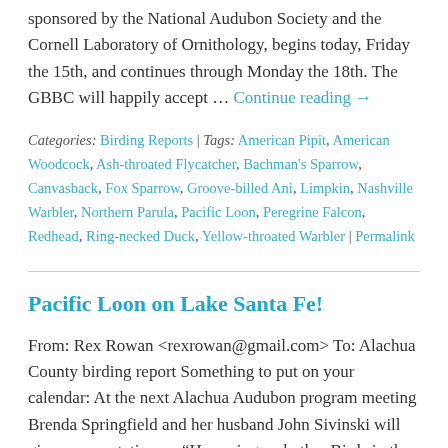sponsored by the National Audubon Society and the Cornell Laboratory of Ornithology, begins today, Friday the 15th, and continues through Monday the 18th. The GBBC will happily accept … Continue reading →
Categories: Birding Reports | Tags: American Pipit, American Woodcock, Ash-throated Flycatcher, Bachman's Sparrow, Canvasback, Fox Sparrow, Groove-billed Ani, Limpkin, Nashville Warbler, Northern Parula, Pacific Loon, Peregrine Falcon, Redhead, Ring-necked Duck, Yellow-throated Warbler | Permalink
Pacific Loon on Lake Santa Fe!
From: Rex Rowan <rexrowan@gmail.com> To: Alachua County birding report Something to put on your calendar: At the next Alachua Audubon program meeting Brenda Springfield and her husband John Sivinski will give a presentation on "Humming and other Birds in the